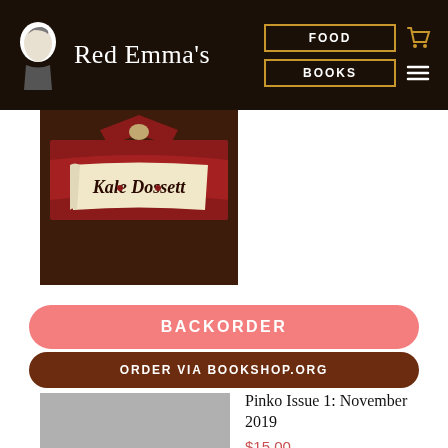Red Emma's | FOOD | BOOKS
[Figure (illustration): Book cover showing 'Kale Dossett' text with illustrated food imagery on dark brown background]
BACKORDER
ORDER VIA BOOKSHOP.ORG
Pinko Issue 1: November 2019
$15.00
[Figure (illustration): Gray placeholder book cover for Pinko Issue 1]